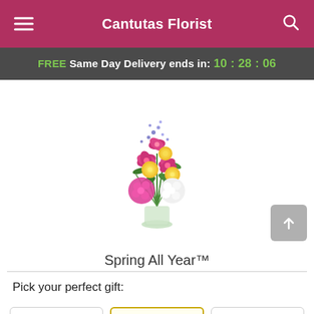Cantutas Florist
FREE Same Day Delivery ends in: 10:28:06
[Figure (photo): A floral arrangement called Spring All Year featuring pink stargazer lilies, yellow roses, pink hydrangeas, white hydrangeas, and blue accent flowers in a glass vase.]
Spring All Year™
Pick your perfect gift: